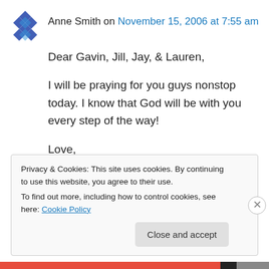Anne Smith on November 15, 2006 at 7:55 am
Dear Gavin, Jill, Jay, & Lauren,

I will be praying for you guys nonstop today. I know that God will be with you every step of the way!

Love,
Anne
↳ Reply
Privacy & Cookies: This site uses cookies. By continuing to use this website, you agree to their use.
To find out more, including how to control cookies, see here: Cookie Policy